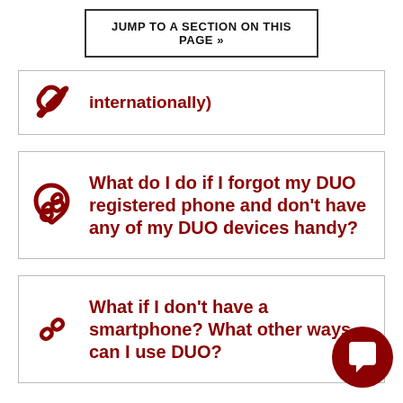JUMP TO A SECTION ON THIS PAGE »
internationally)
What do I do if I forgot my DUO registered phone and don't have any of my DUO devices handy?
What if I don't have a smartphone? What other ways can I use DUO?